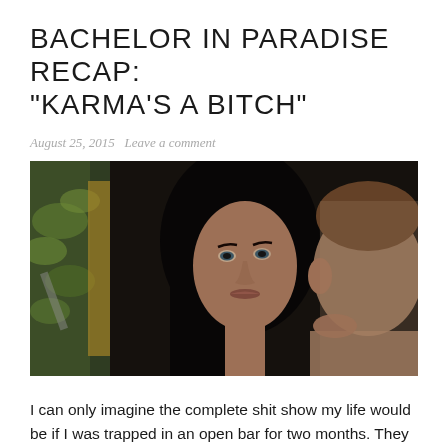BACHELOR IN PARADISE RECAP: “KARMA’S A BITCH”
August 25, 2015   Leave a comment
[Figure (photo): A dark-haired woman looking directly at camera, with a man in the foreground slightly out of focus, colorful blurred background]
I can only imagine the complete shit show my life would be if I was trapped in an open bar for two months. They should